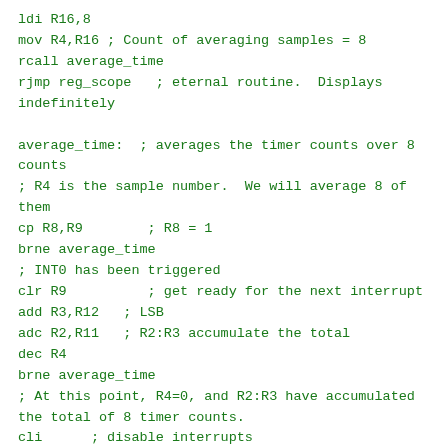ldi R16,8
mov R4,R16 ; Count of averaging samples = 8
rcall average_time
rjmp reg_scope   ; eternal routine.  Displays indefinitely

average_time:  ; averages the timer counts over 8 counts
; R4 is the sample number.  We will average 8 of them
cp R8,R9        ; R8 = 1
brne average_time
; INT0 has been triggered
clr R9          ; get ready for the next interrupt
add R3,R12   ; LSB
adc R2,R11   ; R2:R3 accumulate the total
dec R4
brne average_time
; At this point, R4=0, and R2:R3 have accumulated the total of 8 timer counts.
cli      ; disable interrupts
; call start_time  ; this is probably not right